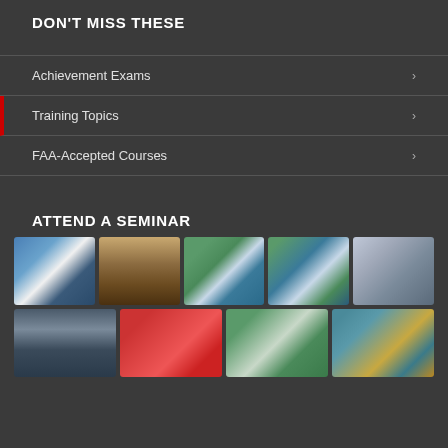DON'T MISS THESE
Achievement Exams
Training Topics
FAA-Accepted Courses
ATTEND A SEMINAR
[Figure (photo): Grid of seminar and group event photos showing large groups of people at outdoor and indoor venues with pools and conference settings]
[Figure (photo): Second row of seminar photos including people in red shirts, group photos at outdoor venues, and a Workshop sign]